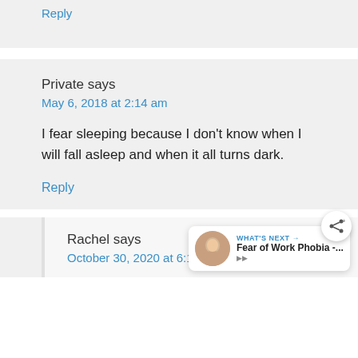Reply
Private says
May 6, 2018 at 2:14 am
I fear sleeping because I don't know when I will fall asleep and when it all turns dark.
Reply
Rachel says
October 30, 2020 at 6:13 pm